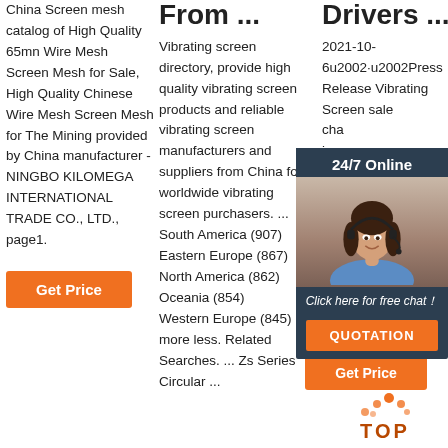China Screen mesh catalog of High Quality 65mn Wire Mesh Screen Mesh for Sale, High Quality Chinese Wire Mesh Screen Mesh for The Mining provided by China manufacturer - NINGBO KILOMEGA INTERNATIONAL TRADE CO., LTD., page1.
[Figure (other): Orange 'Get Price' button]
From ...
Vibrating screen directory, provide high quality vibrating screen products and reliable vibrating screen manufacturers and suppliers from China for worldwide vibrating screen purchasers. ... South America (907) Eastern Europe (867) North America (862) Oceania (854) Western Europe (845) more less. Related Searches. ... Zs Series Circular ...
Drivers ...
2021-10-6u2002·u2002Press Release Vibrating Screen sale cha imp dem 2020 6, 2 ET
[Figure (other): 24/7 Online chat box with customer service photo, click here for free chat link, and QUOTATION button]
[Figure (other): Orange 'Get Price' button on the right side]
[Figure (other): TOP badge with orange dots icon]